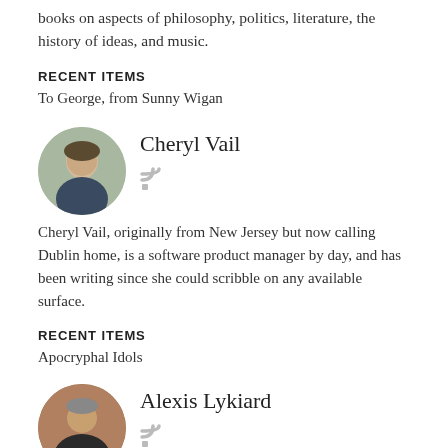books on aspects of philosophy, politics, literature, the history of ideas, and music.
RECENT ITEMS
To George, from Sunny Wigan
[Figure (photo): Circular profile photo of Cheryl Vail]
Cheryl Vail
Cheryl Vail, originally from New Jersey but now calling Dublin home, is a software product manager by day, and has been writing since she could scribble on any available surface.
RECENT ITEMS
Apocryphal Idols
[Figure (photo): Circular profile photo of Alexis Lykiard]
Alexis Lykiard
Alexis Lykiard was born in Athens. His books include 9